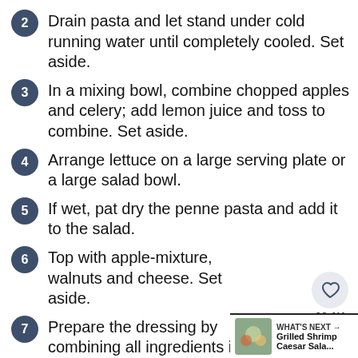2 Drain pasta and let stand under cold running water until completely cooled. Set aside.
3 In a mixing bowl, combine chopped apples and celery; add lemon juice and toss to combine. Set aside.
4 Arrange lettuce on a large serving plate or a large salad bowl.
5 If wet, pat dry the penne pasta and add it to the salad.
6 Top with apple-mixture, walnuts and cheese. Set aside.
7 Prepare the dressing by combining all ingredients in a blender.
8 Blend until creamy and smooth.
9 Drizzle over salad.
10 Taste for seasoning and adjust accordingly.